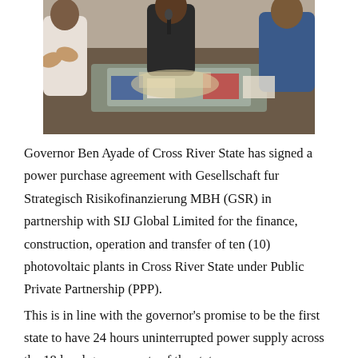[Figure (photo): A group of people seated around a large glass table with documents and microphones, appearing to sign an agreement. Some individuals are clapping.]
Governor Ben Ayade of Cross River State has signed a power purchase agreement with Gesellschaft fur Strategisch Risikofinanzierung MBH (GSR) in partnership with SIJ Global Limited for the finance, construction, operation and transfer of ten (10) photovoltaic plants in Cross River State under Public Private Partnership (PPP).
This is in line with the governor's promise to be the first state to have 24 hours uninterrupted power supply across the 18 local governments of the state.
The state governor unveiled plans of the new city-